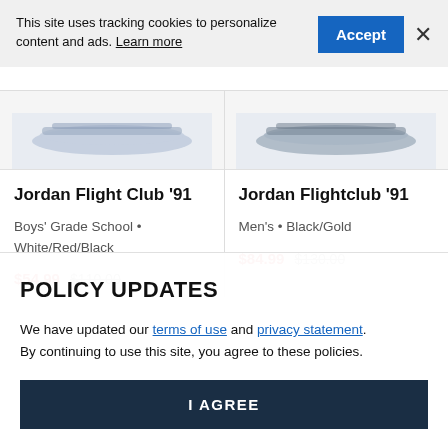This site uses tracking cookies to personalize content and ads. Learn more
[Figure (screenshot): Two product cards showing Jordan sneakers partially visible: left card shows top of shoe image only, right card shows top of shoe image only]
Jordan Flight Club '91
Boys' Grade School • White/Red/Black
$54.99 $110.00
Jordan Flightclub '91
Men's • Black/Gold
$84.99 $130.00
POLICY UPDATES
We have updated our terms of use and privacy statement. By continuing to use this site, you agree to these policies.